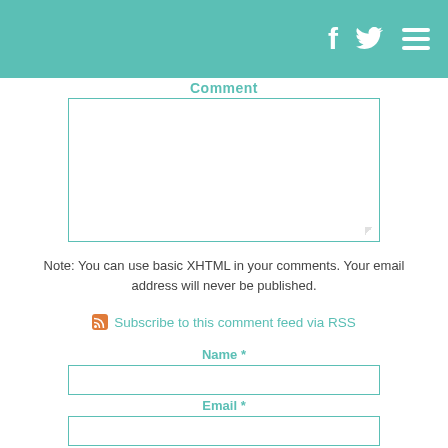f [twitter] [menu]
Comment
[Figure (screenshot): Comment textarea input field with teal border]
Note: You can use basic XHTML in your comments. Your email address will never be published.
Subscribe to this comment feed via RSS
Name *
[Figure (screenshot): Name input field with teal border]
Email *
[Figure (screenshot): Email input field with teal border]
Website
[Figure (screenshot): Website input field with teal border]
Save my name, email, and website in this browser for th...